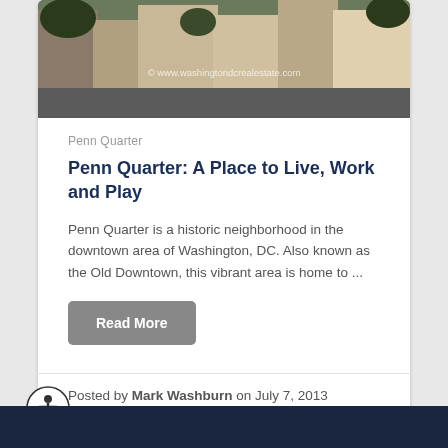[Figure (photo): Street-level photo of Penn Quarter neighborhood in Washington DC, showing buildings and street signs. Watermark reads '© www.washingtondcrealestate.com']
Penn Quarter
Penn Quarter: A Place to Live, Work and Play
Penn Quarter is a historic neighborhood in the downtown area of Washington, DC.  Also known as the Old Downtown, this vibrant area is home to ...
Read More
Posted by Mark Washburn on July 7, 2013